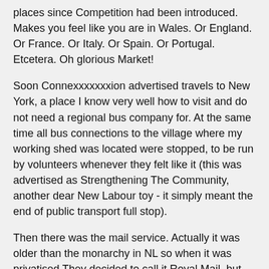places since Competition had been introduced. Makes you feel like you are in Wales. Or England. Or France. Or Italy. Or Spain. Or Portugal. Etcetera. Oh glorious Market!
Soon Connexxxxxxxion advertised travels to New York, a place I know very well how to visit and do not need a regional bus company for. At the same time all bus connections to the village where my working shed was located were stopped, to be run by volunteers whenever they felt like it (this was advertised as Strengthening The Community, another dear New Labour toy - it simply meant the end of public transport full stop).
Then there was the mail service. Actually it was older than the monarchy in NL so when it was privatised They decided to call it Royal Mail, but since this privatised thing had swallowed the Australian company TNT it was renamed to TNT, still showing a stylised crown but for the rest of it a formidable real estate dealer (all these post offices that it could close down now), under management of the former New Labour prime minister, incidentally (he also runs the former state telephone company, the former bank of the